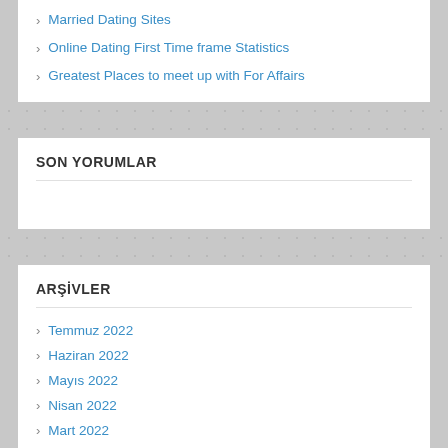Married Dating Sites
Online Dating First Time frame Statistics
Greatest Places to meet up with For Affairs
SON YORUMLAR
ARŞİVLER
Temmuz 2022
Haziran 2022
Mayıs 2022
Nisan 2022
Mart 2022
Şubat 2022